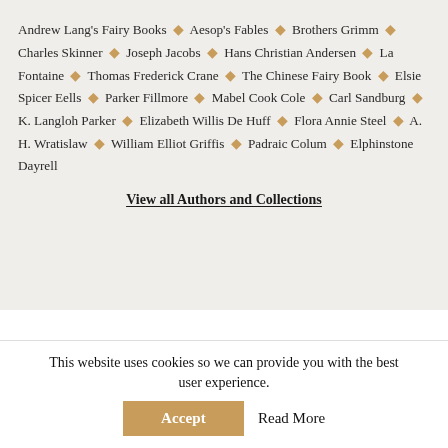Andrew Lang's Fairy Books ◆ Aesop's Fables ◆ Brothers Grimm ◆ Charles Skinner ◆ Joseph Jacobs ◆ Hans Christian Andersen ◆ La Fontaine ◆ Thomas Frederick Crane ◆ The Chinese Fairy Book ◆ Elsie Spicer Eells ◆ Parker Fillmore ◆ Mabel Cook Cole ◆ Carl Sandburg ◆ K. Langloh Parker ◆ Elizabeth Willis De Huff ◆ Flora Annie Steel ◆ A. H. Wratislaw ◆ William Elliot Griffis ◆ Padraic Colum ◆ Elphinstone Dayrell
View all Authors and Collections
This website uses cookies so we can provide you with the best user experience.